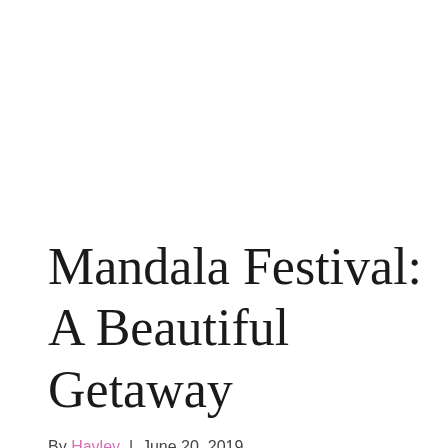Mandala Festival: A Beautiful Getaway
By Hayley | June 20, 2019
What: Mandala Festival in Wanroij, Netherlands
When: June 27th – June 30th